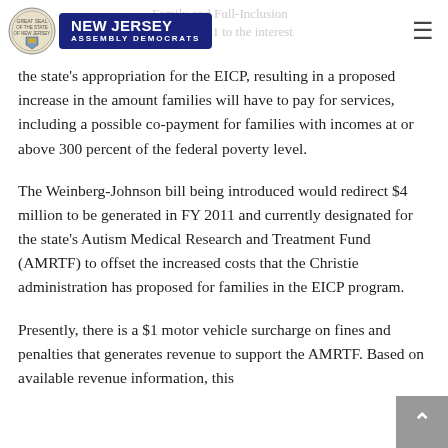New Jersey Assembly Democrats
the state's appropriation for the EICP, resulting in a proposed increase in the amount families will have to pay for services, including a possible co-payment for families with incomes at or above 300 percent of the federal poverty level.
The Weinberg-Johnson bill being introduced would redirect $4 million to be generated in FY 2011 and currently designated for the state's Autism Medical Research and Treatment Fund (AMRTF) to offset the increased costs that the Christie administration has proposed for families in the EICP program.
Presently, there is a $1 motor vehicle surcharge on fines and penalties that generates revenue to support the AMRTF. Based on available revenue information, this